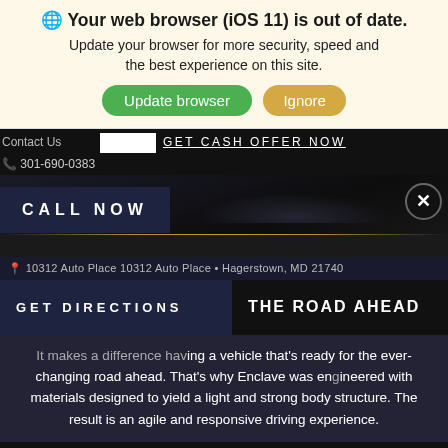🌐 Your web browser (iOS 11) is out of date. Update your browser for more security, speed and the best experience on this site.
Update browser | Ignore
Contact Us  GET CASH OFFER NOW
301-690-0383
CALL NOW
10312 Auto Place 10312 Auto Place • Hagerstown, MD 21740
GET DIRECTIONS   THE ROAD AHEAD
It makes a difference having a vehicle that's ready for the ever-changing road ahead. That's why Enclave was engineered with materials designed to yield a light and strong body structure. The result is an agile and responsive driving experience.
Today's Hours:
Open Today! Sales: 9a
Open Today! Service: 7:30am-5:30pm
Today  ts: 7:30am-5:3  m